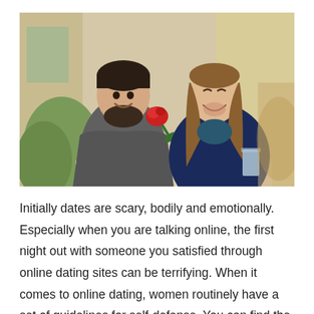[Figure (photo): A couple on a date outdoors. A man with dark hair and beard holds a red rose toward a smiling woman with long brown hair wearing a navy jacket. They are sitting across from each other, appearing happy and engaged.]
Initially dates are scary, bodily and emotionally. Especially when you are talking online, the first night out with someone you satisfied through online dating sites can be terrifying. When it comes to online dating, women routinely have a set of guidelines for self-defense. You can find the tips to keep your online dating encounter safe on AskWomen. Taking these safeguards will help you prevent unwanted situations and ensure that you have a secure